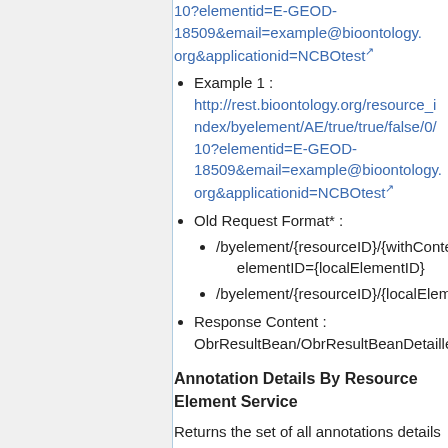10?elementid=E-GEOD-18509&email=example@bioontology.org&applicationid=NCBOtest [link]
Example 1 : http://rest.bioontology.org/resource_index/byelement/AE/true/true/false/0/10?elementid=E-GEOD-18509&email=example@bioontology.org&applicationid=NCBOtest [link]
Old Request Format* :
/byelement/{resourceID}/{withContext elementID={localElementID}
/byelement/{resourceID}/{localEleme...
Response Content : ObrResultBean/ObrResultBeanDetailled...
Annotation Details By Resource Element Service
Returns the set of all annotations details with a given resource element